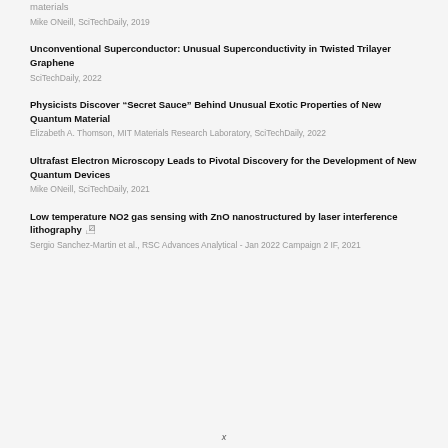materials
Mike ONeill, SciTechDaily, 2019
Unconventional Superconductor: Unusual Superconductivity in Twisted Trilayer Graphene
SciTechDaily, 2022
Physicists Discover “Secret Sauce” Behind Unusual Exotic Properties of New Quantum Material
Elizabeth A. Thomson, MIT Materials Research Laboratory, SciTechDaily, 2022
Ultrafast Electron Microscopy Leads to Pivotal Discovery for the Development of New Quantum Devices
Mike ONeill, SciTechDaily, 2021
Low temperature NO2 gas sensing with ZnO nanostructured by laser interference lithography
Sergio Sanchez-Martin et al., RSC Advances Analytical - Jan 2022 Campaign 2 IF, 2021
x